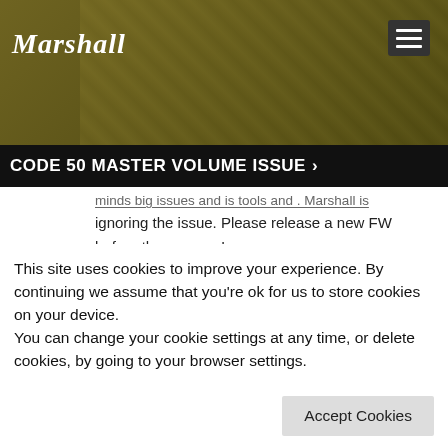[Figure (screenshot): Marshall amplifier website header with dark background and sepia-toned guitar photo]
CODE 50 MASTER VOLUME ISSUE >
ignoring the issue. Please release a new FW before the summer!
answered 04 May 2017 at 05:42 PM
Magnus Frostell (2)
This site uses cookies to improve your experience. By continuing we assume that you're ok for us to store cookies on your device.
You can change your cookie settings at any time, or delete cookies, by going to your browser settings.